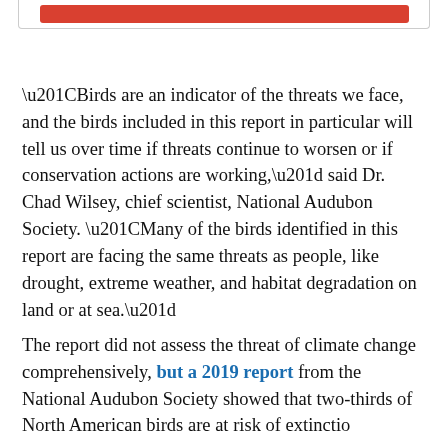[Figure (other): Red button/banner at top of page inside a bordered box]
“Birds are an indicator of the threats we face, and the birds included in this report in particular will tell us over time if threats continue to worsen or if conservation actions are working,” said Dr. Chad Wilsey, chief scientist, National Audubon Society. “Many of the birds identified in this report are facing the same threats as people, like drought, extreme weather, and habitat degradation on land or at sea.”
The report did not assess the threat of climate change comprehensively, but a 2019 report from the National Audubon Society showed that two-thirds of North American birds are at risk of extinction